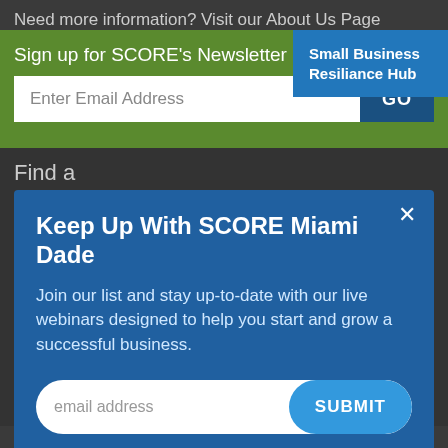Need more information? Visit our About Us Page
Sign up for SCORE's Newsletter
Small Business Resiliance Hub
Enter Email Address
GO
Find a
Keep Up With SCORE Miami Dade
Join our list and stay up-to-date with our live webinars designed to help you start and grow a successful business.
email address
SUBMIT
Mentor
Find a
Location